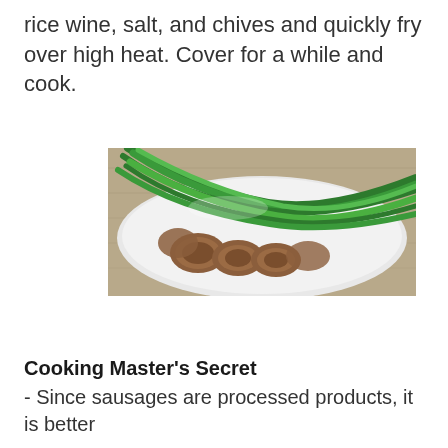rice wine, salt, and chives and quickly fry over high heat. Cover for a while and cook.
[Figure (photo): A white plate with fresh green chives and sliced sausage pieces, viewed from above on a wooden surface.]
Cooking Master's Secret
- Since sausages are processed products, it is better